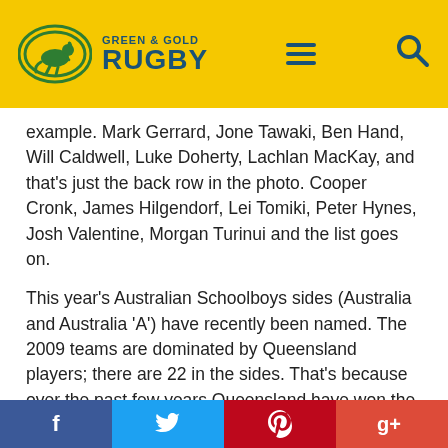Green & Gold Rugby
example. Mark Gerrard, Jone Tawaki, Ben Hand, Will Caldwell, Luke Doherty, Lachlan MacKay, and that's just the back row in the photo. Cooper Cronk, James Hilgendorf, Lei Tomiki, Peter Hynes, Josh Valentine, Morgan Turinui and the list goes on.
This year's Australian Schoolboys sides (Australia and Australia 'A') have recently been named. The 2009 teams are dominated by Queensland players; there are 22 in the sides. That's because over the past few years Queensland have won the National Championships which are normally held in the June/July school holiday period. This is a bit of a surprise as Queensland field sides that are generally younger than NSW due to
f  🐦  ℗  g+